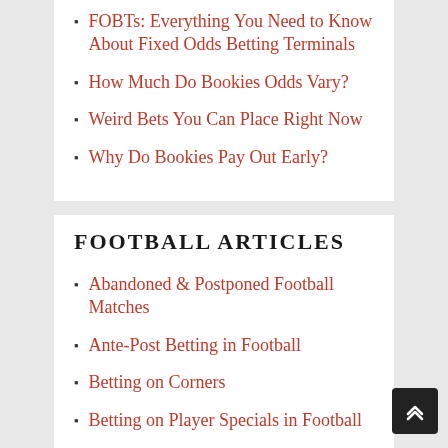FOBTs: Everything You Need to Know About Fixed Odds Betting Terminals
How Much Do Bookies Odds Vary?
Weird Bets You Can Place Right Now
Why Do Bookies Pay Out Early?
FOOTBALL ARTICLES
Abandoned & Postponed Football Matches
Ante-Post Betting in Football
Betting on Corners
Betting on Player Specials in Football
Booking Points in Football Betting